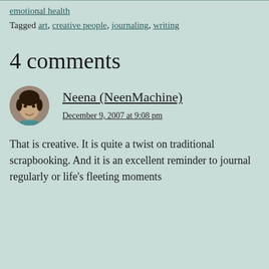emotional health
Tagged art, creative people, journaling, writing
4 comments
Neena (NeenMachine)
December 9, 2007 at 9:08 pm
That is creative. It is quite a twist on traditional scrapbooking. And it is an excellent reminder to journal regularly or life's fleeting moments will pass by without a chance to capture them.